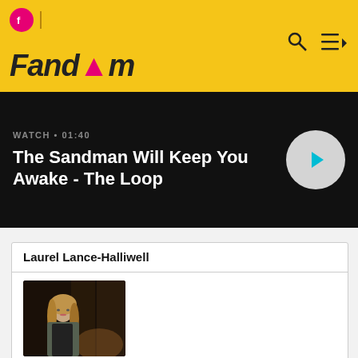Fandom
WATCH • 01:40
The Sandman Will Keep You Awake - The Loop
Laurel Lance-Halliwell
[Figure (photo): Photo of Laurel Lance in a dark scene]
Laurel Lance in 2370